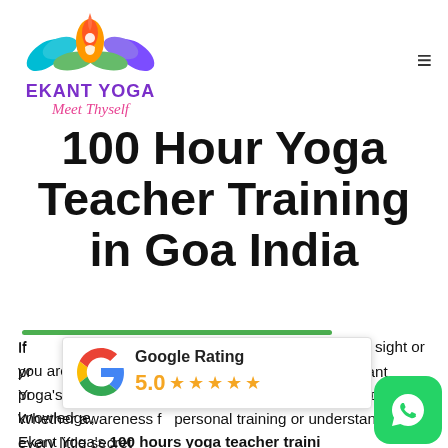[Figure (logo): Ekant Yoga lotus logo with flame, colorful petals in purple, teal, green, orange]
100 Hour Yoga Teacher Training in Goa India
[Figure (infographic): Google Rating popup showing 5.0 stars with Google G logo]
If you are a beginner seeking insight or you are a professional looking to deepen your knowledge, Ekant Yoga's 100 hours yoga teacher training in Goa is your best bet. Whether awareness for personal training or understanding every little secret to become a profound teacher, our yoga course will...
[Figure (logo): WhatsApp green icon button in bottom right corner]